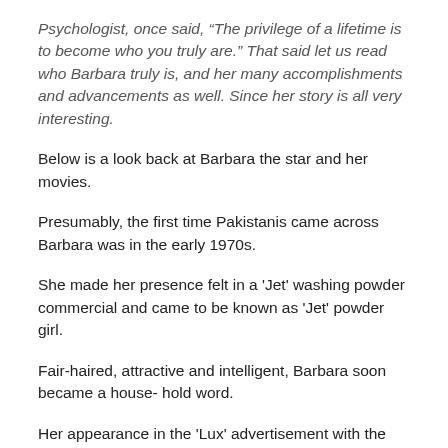Psychologist, once said, “The privilege of a lifetime is to become who you truly are.” That said let us read who Barbara truly is, and her many accomplishments and advancements as well. Since her story is all very interesting.
Below is a look back at Barbara the star and her movies.
Presumably, the first time Pakistanis came across Barbara was in the early 1970s.
She made her presence felt in a 'Jet' washing powder commercial and came to be known as 'Jet' powder girl.
Fair-haired, attractive and intelligent, Barbara soon became a house- hold word.
Her appearance in the 'Lux' advertisement with the message, 'Aakhir loag hamara chehra he to deiktay hain', took her fame to the zenith.